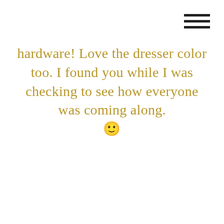hardware! Love the dresser color too. I found you while I was checking to see how everyone was coming along. 🙂
Reply
Gloria says:
June 3, 2020 at 1:54 pm
Thank you so much – they're the original ones that I just added rub n buff too!